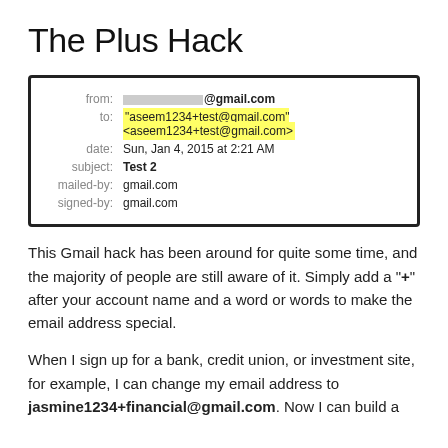The Plus Hack
[Figure (screenshot): Gmail email header screenshot showing: from: [redacted]@gmail.com, to: (highlighted in yellow) "aseem1234+test@gmail.com" <aseem1234+test@gmail.com>, date: Sun, Jan 4, 2015 at 2:21 AM, subject: Test 2, mailed-by: gmail.com, signed-by: gmail.com]
This Gmail hack has been around for quite some time, and the majority of people are still aware of it. Simply add a "+" after your account name and a word or words to make the email address special.
When I sign up for a bank, credit union, or investment site, for example, I can change my email address to jasmine1234+financial@gmail.com. Now I can build a